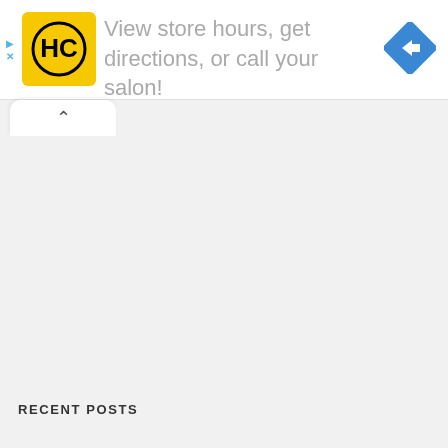[Figure (logo): HC (HairCuts or similar) yellow logo with black circle and HC letters, followed by ad text 'View store hours, get directions, or call your salon!' with a blue navigation diamond icon on the right]
View store hours, get directions, or call your salon!
RECENT POSTS